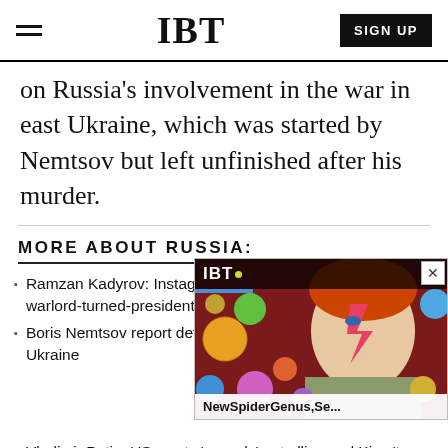IBT  SIGN UP
on Russia's involvement in the war in east Ukraine, which was started by Nemtsov but left unfinished after his murder.
MORE ABOUT RUSSIA:
Ramzan Kadyrov: Instagram-obsessed Islamist Chechen warlord-turned-president who is c…
Boris Nemtsov report details Ru… Ukraine
[Figure (screenshot): IBT video player overlay showing a person with Ziggy Stardust face paint, with title 'NewSpiderGenus,Se...' and a close button.]
Vladimir Putin: US wants 'vassals' not allies and Kiev 'to blame' for Ukraine economic blockade